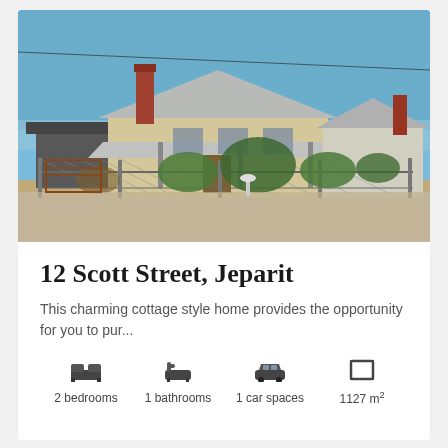[Figure (photo): Exterior photo of a cottage-style house at 12 Scott Street, Jeparit. Shows a low-set weatherboard home with corrugated iron roof, brick chimney, verandah, overgrown front garden with shrubs and dry grass, and a chain-link fence in the foreground. Blue sky in the background.]
12 Scott Street, Jeparit
This charming cottage style home provides the opportunity for you to pur...
2 bedrooms
1 bathrooms
1 car spaces
1127 m²